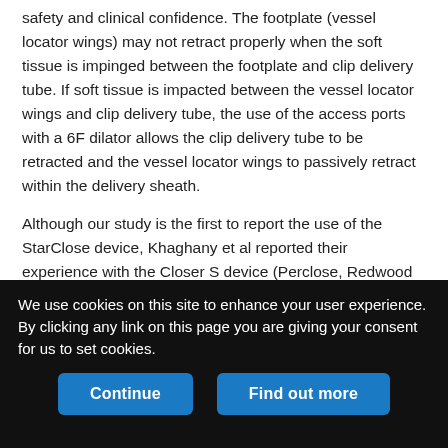safety and clinical confidence. The footplate (vessel locator wings) may not retract properly when the soft tissue is impinged between the footplate and clip delivery tube. If soft tissue is impacted between the vessel locator wings and clip delivery tube, the use of the access ports with a 6F dilator allows the clip delivery tube to be retracted and the vessel locator wings to passively retract within the delivery sheath.
Although our study is the first to report the use of the StarClose device, Khaghany et al reported their experience with the Closer S device (Perclose, Redwood City, California) in 337 patients undergoing neurointerventional procedures.9 Success was similar between the device group and manual compression group (95% vs
We use cookies on this site to enhance your user experience. By clicking any link on this page you are giving your consent for us to set cookies.